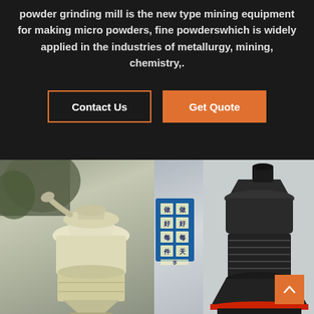powder grinding mill is the new type mining equipment for making micro powders, fine powderswhich is widely applied in the industries of metallurgy, mining, chemistry,.
Contact Us | Get Quote
[Figure (photo): Two industrial powder grinding mills side by side: a cream/white colored mill on the left and a dark/black colored mill on the right, shown in an industrial setting. A Chinese language sign is visible in the background between the two machines. An orange scroll-to-top button is visible in the lower right.]